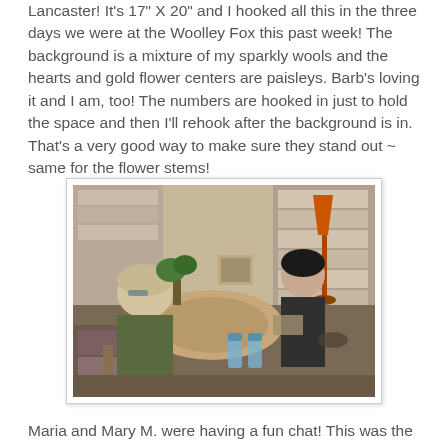Lancaster!  It's 17" X 20" and I hooked all this in the three days we were at the Woolley Fox this past week!  The background is a mixture of my sparkly wools and the hearts and gold flower centers are paisleys.  Barb's loving it and I am, too!  The numbers are hooked in just to hold the space and then I'll rehook after the background is in. That's a very good way to make sure they stand out ~ same for the flower stems!
[Figure (photo): Two women sitting at a table covered with rug hooking projects and wool fabrics in a shop (Woolley Fox). One woman faces away from camera, the other faces forward. An orange lamp, shelves of folded fabrics, and craft supplies are visible in the background.]
Maria and Mary M. were having a fun chat!  This was the